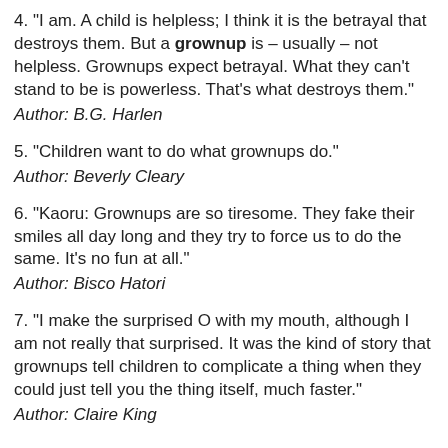4. "I am. A child is helpless; I think it is the betrayal that destroys them. But a grownup is – usually – not helpless. Grownups expect betrayal. What they can't stand to be is powerless. That's what destroys them." Author: B.G. Harlen
5. "Children want to do what grownups do." Author: Beverly Cleary
6. "Kaoru: Grownups are so tiresome. They fake their smiles all day long and they try to force us to do the same. It's no fun at all." Author: Bisco Hatori
7. "I make the surprised O with my mouth, although I am not really that surprised. It was the kind of story that grownups tell children to complicate a thing when they could just tell you the thing itself, much faster." Author: Claire King